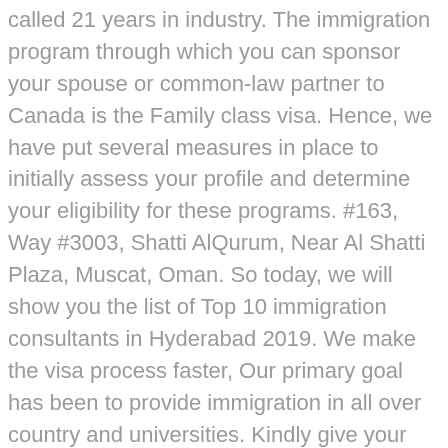called 21 years in industry. The immigration program through which you can sponsor your spouse or common-law partner to Canada is the Family class visa. Hence, we have put several measures in place to initially assess your profile and determine your eligibility for these programs. #163, Way #3003, Shatti AlQurum, Near Al Shatti Plaza, Muscat, Oman. So today, we will show you the list of Top 10 immigration consultants in Hyderabad 2019. We make the visa process faster, Our primary goal has been to provide immigration in all over country and universities. Kindly give your consent. All Rights Reserved. You only need proper help and guidance from a best immigration consultants in Hyderabad who can help you out. Our MARA & ICCRC-certified legal representatives are consistently devoted to providing the best representation at every stage of your process. 406 Prestige Atrium 1, Central St, Shivaji Nagar, Bengaluru, Karnataka 560001, India, Plot No. Overall nice a experience. As I am new to city my consultant Harish chand have been continuously in touch to even guide